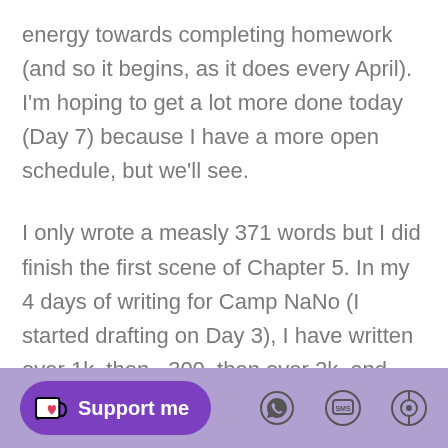energy towards completing homework (and so it begins, as it does every April). I'm hoping to get a lot more done today (Day 7) because I have a more open schedule, but we'll see.
I only wrote a measly 371 words but I did finish the first scene of Chapter 5. In my 4 days of writing for Camp NaNo (I started drafting on Day 3), I have written over 1k, then ~300, then over 2k, and now back to the 300's. Maybe it's a pattern. As long as I'm writing every day, I feel okay. My goal of 30k is a bit low for other Camp NaNo goals I've set in the
Support me